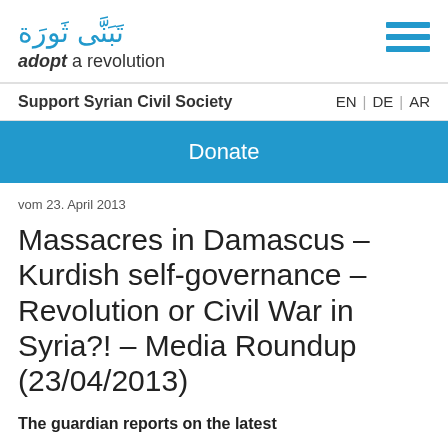تبنّى ثورة | adopt a revolution | Support Syrian Civil Society | EN | DE | AR
Donate
vom 23. April 2013
Massacres in Damascus – Kurdish self-governance – Revolution or Civil War in Syria?! – Media Roundup (23/04/2013)
The guardian reports on the latest